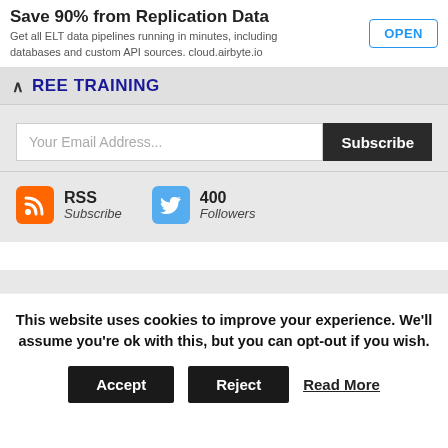[Figure (screenshot): Advertisement banner: 'Save 90% from Replication Data' with subtitle 'Get all ELT data pipelines running in minutes, including databases and custom API sources. cloud.airbyte.io' and an OPEN button]
REE TRAINING
Your Email Address...
Subscribe
[Figure (logo): RSS orange icon with RSS text and Subscribe label]
[Figure (logo): Twitter blue icon with 400 Followers label]
This website uses cookies to improve your experience. We'll assume you're ok with this, but you can opt-out if you wish.
Accept
Reject
Read More